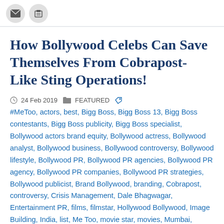How Bollywood Celebs Can Save Themselves From Cobrapost-Like Sting Operations!
24 Feb 2019   FEATURED   #MeToo, actors, best, Bigg Boss, Bigg Boss 13, Bigg Boss contestants, Bigg Boss publicity, Bigg Boss specialist, Bollywood actors brand equity, Bollywood actress, Bollywood analyst, Bollywood business, Bollywood controversy, Bollywood lifestyle, Bollywood PR, Bollywood PR agencies, Bollywood PR agency, Bollywood PR companies, Bollywood PR strategies, Bollywood publicist, Brand Bollywood, branding, Cobrapost, controversy, Crisis Management, Dale Bhagwagar, Entertainment PR, films, filmstar, Hollywood Bollywood, Image Building, India, list, Me Too, movie star, movies, Mumbai, Operation Karaoke, PR disaster, PR full